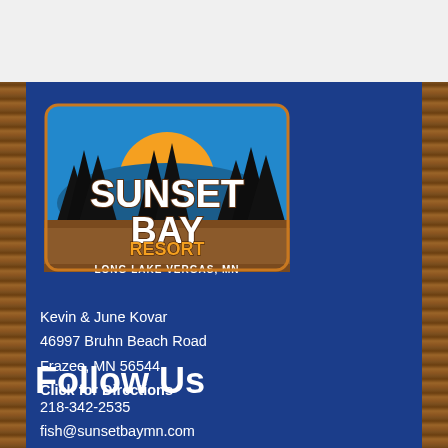[Figure (logo): Sunset Bay Resort logo with pine trees silhouette, orange sun, blue sky, and wooden sign. Text reads SUNSET BAY RESORT LONG LAKE VERGAS, MN]
Kevin & June Kovar
46997 Bruhn Beach Road
Frazee, MN 56544
Click for Directions
218-342-2535
fish@sunsetbaymn.com
www.sunsetbaymn.com
Follow Us